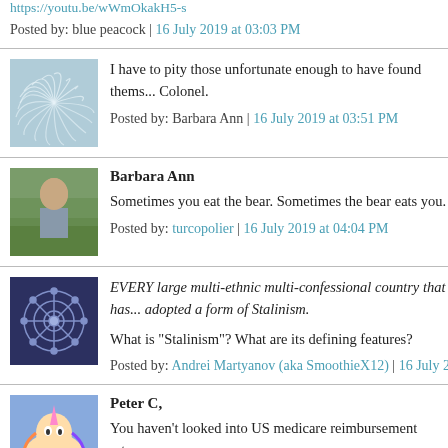https://youtu.be/wWmOkakH5-s
Posted by: blue peacock | 16 July 2019 at 03:03 PM
I have to pity those unfortunate enough to have found thems... Colonel.
Posted by: Barbara Ann | 16 July 2019 at 03:51 PM
Barbara Ann
Sometimes you eat the bear. Sometimes the bear eats you.
Posted by: turcopolier | 16 July 2019 at 04:04 PM
EVERY large multi-ethnic multi-confessional country that has... adopted a form of Stalinism.
What is "Stalinism"? What are its defining features?
Posted by: Andrei Martyanov (aka SmoothieX12) | 16 July 2019 at
Peter C,
You haven't looked into US medicare reimbursement rates c...